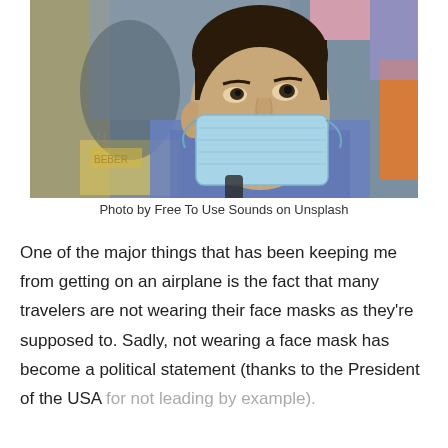[Figure (photo): Close-up photo of a young man wearing a light blue surgical face mask in an urban setting with blurred colorful background signage.]
Photo by Free To Use Sounds on Unsplash
One of the major things that has been keeping me from getting on an airplane is the fact that many travelers are not wearing their face masks as they're supposed to. Sadly, not wearing a face mask has become a political statement (thanks to the President of the USA for not leading by example).